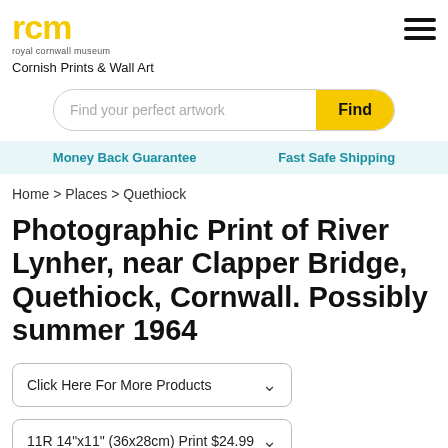[Figure (logo): Royal Cornwall Museum (rcm) logo in yellow with text 'royal cornwell museum' below]
Cornish Prints & Wall Art
Find your perfect artwork
Money Back Guarantee    Fast Safe Shipping
Home > Places > Quethiock
Photographic Print of River Lynher, near Clapper Bridge, Quethiock, Cornwall. Possibly summer 1964
Click Here For More Products
11R 14"x11" (36x28cm) Print $24.99